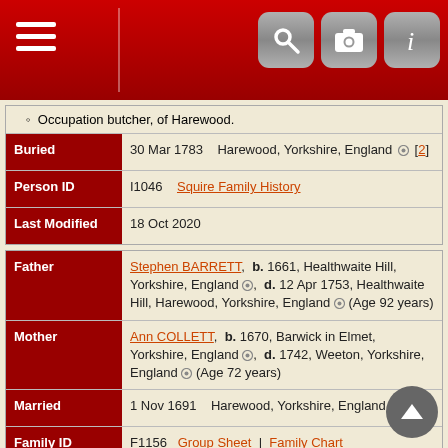Navigation bar with menu and icons
Occupation butcher, of Harewood.
| Field | Date | Place |
| --- | --- | --- |
| Buried | 30 Mar 1783 | Harewood, Yorkshire, England [2] |
| Person ID | I1046 | Squire Family History |
| Last Modified | 18 Oct 2020 |  |
| Field | Content |
| --- | --- |
| Father | Stephen BARRETT, b. 1661, Healthwaite Hill, Yorkshire, England, d. 12 Apr 1753, Healthwaite Hill, Harewood, Yorkshire, England (Age 92 years) |
| Mother | Ann COLLETT, b. 1670, Barwick in Elmet, Yorkshire, England, d. 1742, Weeton, Yorkshire, England (Age 72 years) |
| Married | 1 Nov 1691 | Harewood, Yorkshire, England [3] |
| Family ID | F1156 | Group Sheet | Family Chart |
| Field | Content |
| --- | --- |
| Family | Hannah WAITE, b. 20 May 1710, Kirkby Overblow, Yorkshire, England, d. 28 Jan 1792, Stockton, Yorkshire, England (Age 81 years) |
| Married | 27 Dec 1734 | All Saints Church, Harewood, Yorkshire, England [4] |